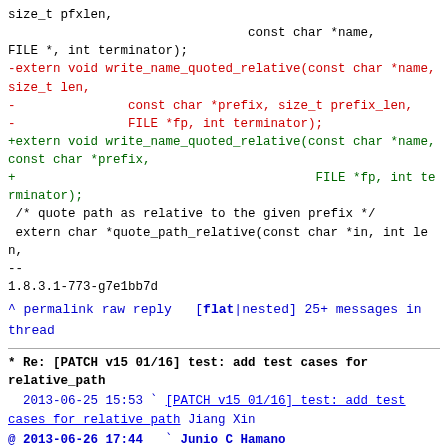size_t pfxlen,
                                const char *name,
FILE *, int terminator);
-extern void write_name_quoted_relative(const char *name, size_t len,
-               const char *prefix, size_t prefix_len,
-               FILE *fp, int terminator);
+extern void write_name_quoted_relative(const char *name, const char *prefix,
+                                        FILE *fp, int terminator);
 /* quote path as relative to the given prefix */
 extern char *quote_path_relative(const char *in, int len,
--
1.8.3.1-773-g7e1bb7d
^ permalink raw reply   [flat|nested] 25+ messages in thread
* Re: [PATCH v15 01/16] test: add test cases for relative_path
  2013-06-25 15:53 ` [PATCH v15 01/16] test: add test cases for relative_path Jiang Xin
@ 2013-06-26 17:44   ` Junio C Hamano
  2013-06-27  1:00     ` Jiang Xin
  0 siblings, 1 reply; 25+ messages in thread
From: Junio C Hamano @ 2013-06-26 17:44 UTC (permalink / raw)